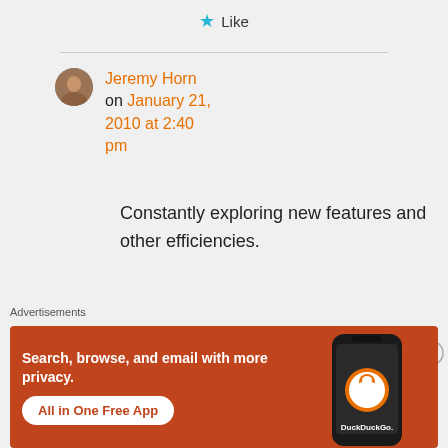★ Like
Jeremy Horn
on January 21, 2010 at 2:40 pm
Constantly exploring new features and other efficiencies.
Advertisements
[Figure (infographic): DuckDuckGo advertisement banner with orange background. Text: 'Search, browse, and email with more privacy. All in One Free App' with a phone showing the DuckDuckGo app.]